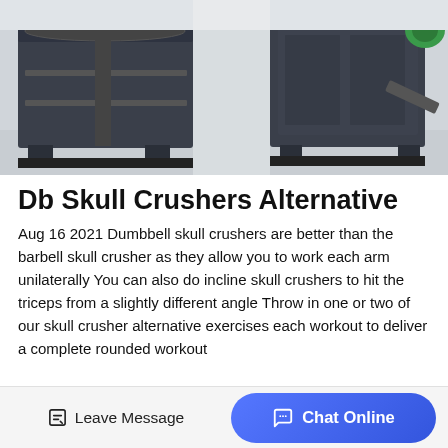[Figure (photo): Industrial machinery / crushers in a factory setting — two large dark blue/grey metal machines on the factory floor]
Db Skull Crushers Alternative
Aug 16 2021 Dumbbell skull crushers are better than the barbell skull crusher as they allow you to work each arm unilaterally You can also do incline skull crushers to hit the triceps from a slightly different angle Throw in one or two of our skull crusher alternative exercises each workout to deliver a complete rounded workout